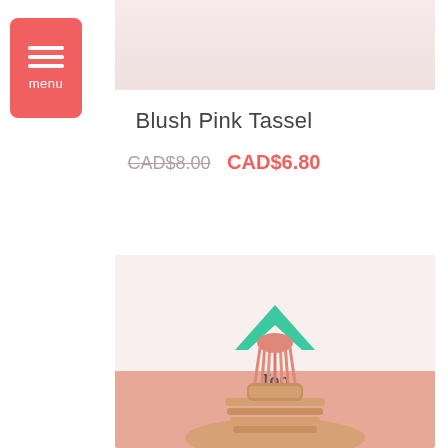[Figure (screenshot): Top portion of a blush pink product image showing a light pink/white background]
Blush Pink Tassel
CAD$8.00  CAD$6.80
[Figure (photo): Photo of a blush pink tassel sitting on top of a woven basket, with a white brick wall in the background. A teal chevron arrow and the word Top are overlaid on the image.]